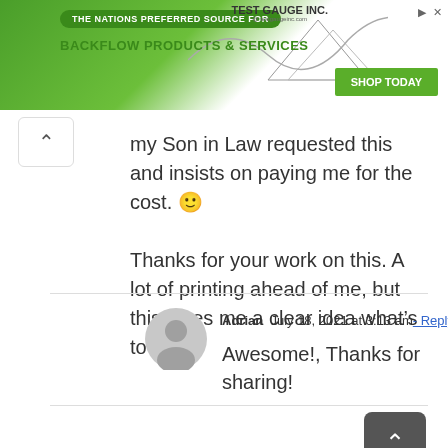[Figure (screenshot): Advertisement banner for Test Gauge Inc. - The Nations Preferred Source For Backflow Products & Services with Shop Today button]
my Son in Law requested this and insists on paying me for the cost. 🙂

Thanks for your work on this. A lot of printing ahead of me, but this gives me a clear idea what's to print.
Adrian  July 18, 2021 at 3:13 am  - Reply
Awesome!, Thanks for sharing!